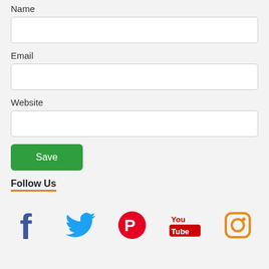Name
[Figure (other): Text input field for Name]
Email
[Figure (other): Text input field for Email]
Website
[Figure (other): Text input field for Website]
[Figure (other): Green Save button]
Follow Us
[Figure (other): Social media icons: Facebook, Twitter, Pinterest, YouTube, Instagram]